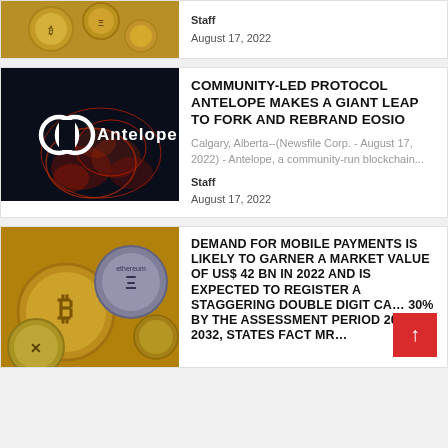[Figure (photo): Partial top card showing crypto coins image (cropped at top)]
Staff
August 17, 2022
[Figure (logo): Antelope logo on dark neural/abstract background - black and red tones with white Antelope logo text]
COMMUNITY-LED PROTOCOL ANTELOPE MAKES A GIANT LEAP TO FORK AND REBRAND EOSIO
Calgary, Alberta--(Newsfile Corp. - August 17, 2022) - Antelope, a community-run blockchain...
Staff
August 17, 2022
[Figure (photo): Multiple cryptocurrency coins including Ethereum, Bitcoin, and Ripple coins piled together on golden background]
DEMAND FOR MOBILE PAYMENTS IS LIKELY TO GARNER A MARKET VALUE OF US$ 42 BN IN 2022 AND IS EXPECTED TO REGISTER A STAGGERING DOUBLE DIGIT CA... 30% BY THE ASSESSMENT PERIOD 2022-2032, STATES FACT MR...